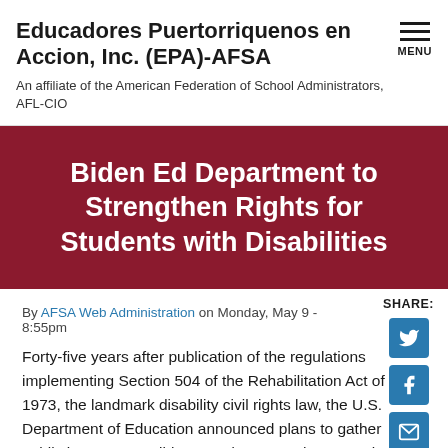Educadores Puertorriquenos en Accion, Inc. (EPA)-AFSA
An affiliate of the American Federation of School Administrators, AFL-CIO
Biden Ed Department to Strengthen Rights for Students with Disabilities
By AFSA Web Administration on Monday, May 9 - 8:55pm
Forty-five years after publication of the regulations implementing Section 504 of the Rehabilitation Act of 1973, the landmark disability civil rights law, the U.S. Department of Education announced plans to gather public input on possible amendments to those regulations in order to strengthen and protect the rights of students with disabilities. Section 504 prohibits discrimination on